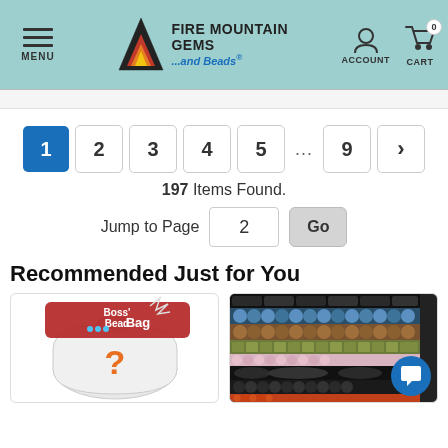Fire Mountain Gems and Beads - MENU, ACCOUNT, CART 0
1 2 3 4 5 ... 9 > (pagination)
197 Items Found.
Jump to Page 2 Go
Recommended Just for You
[Figure (photo): Boss' Bead Bag product image with mystery bag graphic showing a question mark]
[Figure (photo): Assorted gemstone beads product image showing multiple strands of colorful beads]